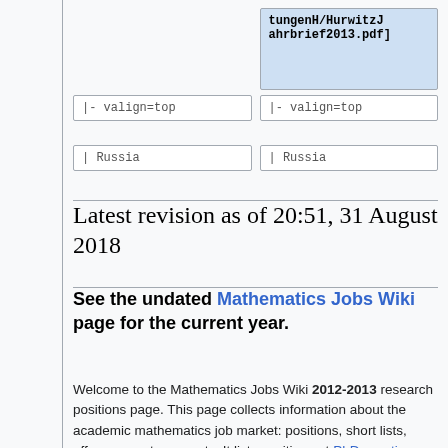[Figure (screenshot): Two code boxes at top showing wiki markup highlighted in blue: 'tungenH/HurwitzJahrbrief2013.pdf]']
|- valign=top
|- valign=top
| Russia
| Russia
Latest revision as of 20:51, 31 August 2018
See the undated Mathematics Jobs Wiki page for the current year.
Welcome to the Mathematics Jobs Wiki 2012-2013 research positions page. This page collects information about the academic mathematics job market: positions, short lists, offers, acceptances, etc. It lists positions at PhD-granting departments (including stat and applied math), and at departments that are research-oriented by other reasonable criteria. See the teaching positions page for more teaching-oriented academic math jobs.